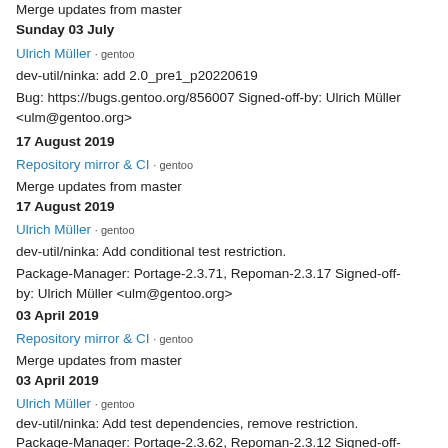Merge updates from master
Sunday 03 July
Ulrich Müller · gentoo
dev-util/ninka: add 2.0_pre1_p20220619
Bug: https://bugs.gentoo.org/856007 Signed-off-by: Ulrich Müller <ulm@gentoo.org>
17 August 2019
Repository mirror & CI · gentoo
Merge updates from master
17 August 2019
Ulrich Müller · gentoo
dev-util/ninka: Add conditional test restriction.
Package-Manager: Portage-2.3.71, Repoman-2.3.17 Signed-off-by: Ulrich Müller <ulm@gentoo.org>
03 April 2019
Repository mirror & CI · gentoo
Merge updates from master
03 April 2019
Ulrich Müller · gentoo
dev-util/ninka: Add test dependencies, remove restriction.
Package-Manager: Portage-2.3.62, Repoman-2.3.12 Signed-off-by: Ulrich Müller <ulm@gentoo.org>